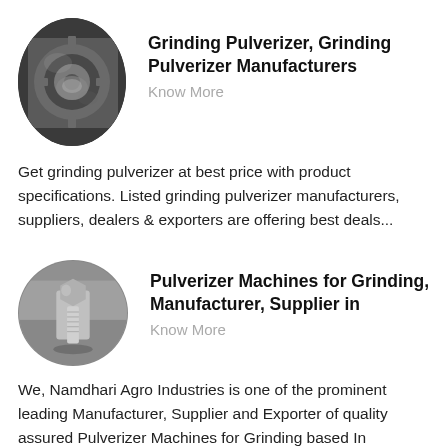[Figure (photo): Oval/elliptical shaped photo of a grinding pulverizer machine with metallic gears/discs visible]
Grinding Pulverizer, Grinding Pulverizer Manufacturers
Know More
Get grinding pulverizer at best price with product specifications. Listed grinding pulverizer manufacturers, suppliers, dealers & exporters are offering best deals...
[Figure (photo): Oval/elliptical shaped photo of a pulverizer machine component, metallic bolt/screw visible on grey surface]
Pulverizer Machines for Grinding, Manufacturer, Supplier in
Know More
We, Namdhari Agro Industries is one of the prominent leading Manufacturer, Supplier and Exporter of quality assured Pulverizer Machines for Grinding based In